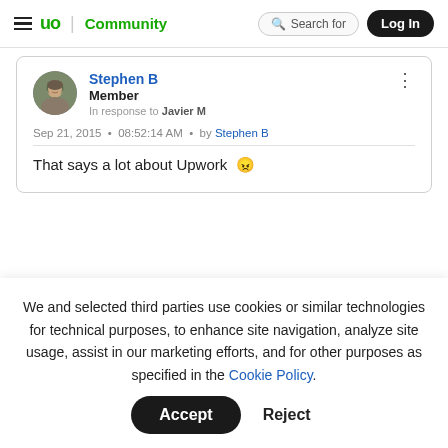up Community | Search for | Log In
Stephen B
Member
In response to Javier M
Sep 21, 2015 • 08:52:14 AM • by Stephen B
That says a lot about Upwork 😑
We and selected third parties use cookies or similar technologies for technical purposes, to enhance site navigation, analyze site usage, assist in our marketing efforts, and for other purposes as specified in the Cookie Policy.